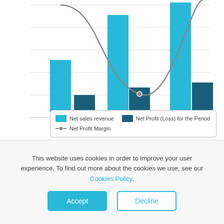[Figure (grouped-bar-chart): Net sales revenue, Net Profit (Loss) for the Period, Net Profit Margin]
Financial values in the chart are available after Havelsan Teknoloji Radar Htr A.S. report is purchased.
This website uses cookies in order to improve your user experience. To find out more about the cookies we use, see our Cookies Policy.